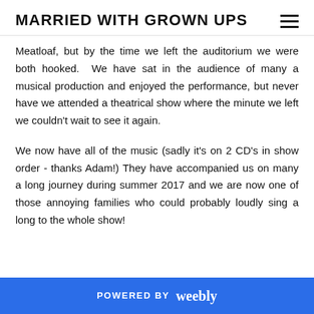MARRIED WITH GROWN UPS
Meatloaf, but by the time we left the auditorium we were both hooked.  We have sat in the audience of many a musical production and enjoyed the performance, but never have we attended a theatrical show where the minute we left we couldn't wait to see it again.
We now have all of the music (sadly it's on 2 CD's in show order - thanks Adam!) They have accompanied us on many a long journey during summer 2017 and we are now one of those annoying families who could probably loudly sing a long to the whole show!
POWERED BY weebly